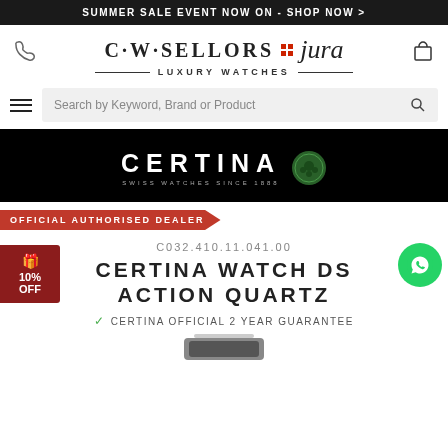SUMMER SALE EVENT NOW ON - SHOP NOW >
[Figure (logo): C·W·SELLORS jura LUXURY WATCHES logo with red grid dots between the two brand names]
Search by Keyword, Brand or Product
[Figure (logo): CERTINA Swiss Watches Since 1888 logo on black background with green turtle emblem]
OFFICIAL AUTHORISED DEALER
C032.410.11.041.00
CERTINA WATCH DS ACTION QUARTZ
✓ CERTINA OFFICIAL 2 YEAR GUARANTEE
[Figure (photo): Partial view of a watch at the bottom of the page]